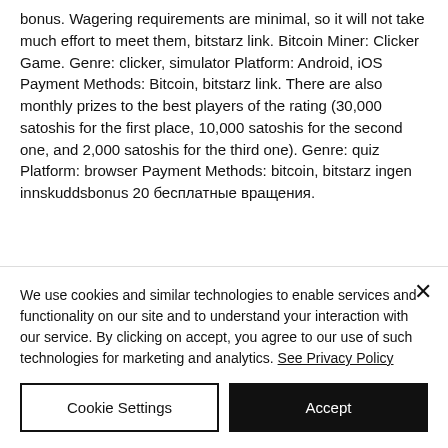bonus. Wagering requirements are minimal, so it will not take much effort to meet them, bitstarz link. Bitcoin Miner: Clicker Game. Genre: clicker, simulator Platform: Android, iOS Payment Methods: Bitcoin, bitstarz link. There are also monthly prizes to the best players of the rating (30,000 satoshis for the first place, 10,000 satoshis for the second one, and 2,000 satoshis for the third one). Genre: quiz Platform: browser Payment Methods: bitcoin, bitstarz ingen innskuddsbonus 20 бесплатные вращения.
We use cookies and similar technologies to enable services and functionality on our site and to understand your interaction with our service. By clicking on accept, you agree to our use of such technologies for marketing and analytics. See Privacy Policy
Cookie Settings
Accept